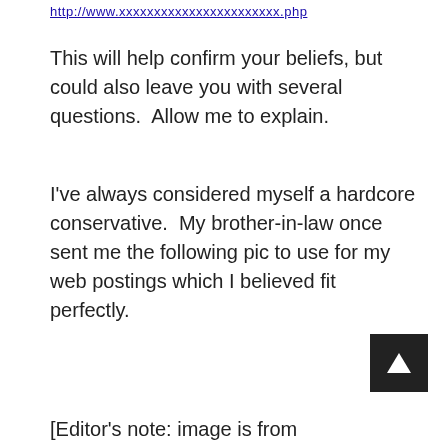http://www.xxxxxxx.xxx/xxxxxxxx.php
This will help confirm your beliefs, but could also leave you with several questions.  Allow me to explain.
I've always considered myself a hardcore conservative.  My brother-in-law once sent me the following pic to use for my web postings which I believed fit perfectly.
[Figure (other): Navigation/scroll-to-top button: dark square button with upward arrow]
[Editor's note: image is from